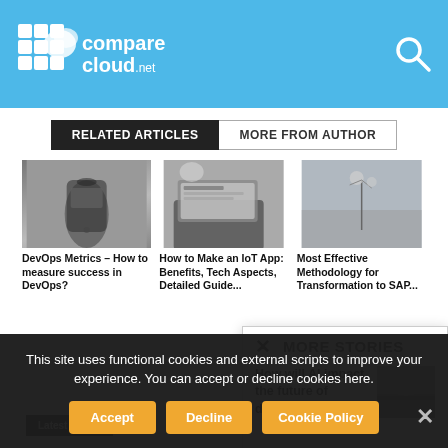comparecloud.net
RELATED ARTICLES | MORE FROM AUTHOR
[Figure (photo): Grayscale photo of a hand holding a smartphone]
DevOps Metrics – How to measure success in DevOps?
[Figure (photo): Grayscale photo of a laptop with a coffee cup]
How to Make an IoT App: Benefits, Tech Aspects, Detailed Guide...
[Figure (photo): Grayscale photo of a dandelion flower]
Most Effective Methodology for Transformation to SAP...
MORE STORIES
How will AI impact the future of different
[Figure (photo): Grayscale landscape photo thumbnail]
This site uses functional cookies and external scripts to improve your experience. You can accept or decline cookies here.
Accept | Decline | Cookie Policy